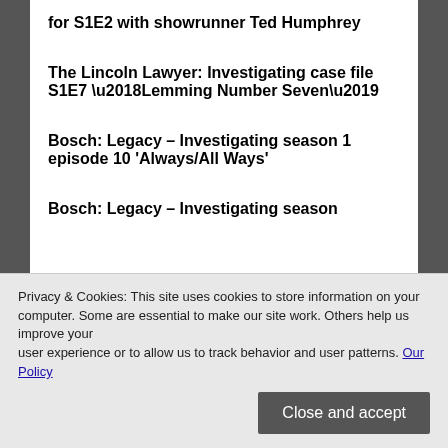for S1E2 with showrunner Ted Humphrey
The Lincoln Lawyer: Investigating case file S1E7 ‘Lemming Number Seven’
Bosch: Legacy – Investigating season 1 episode 10 ‘Always/All Ways’
Bosch: Legacy – Investigating season
Privacy & Cookies: This site uses cookies to store information on your computer. Some are essential to make our site work. Others help us improve your user experience or to allow us to track behavior and user patterns. Our Policy
Close and accept